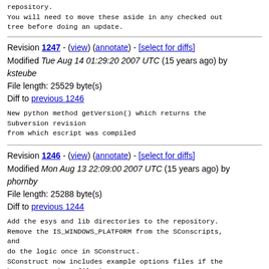repository.
You will need to move these aside in any checked out tree before doing an update.
Revision 1247 - (view) (annotate) - [select for diffs]
Modified Tue Aug 14 01:29:20 2007 UTC (15 years ago) by ksteube
File length: 25529 byte(s)
Diff to previous 1246
New python method getVersion() which returns the Subversion revision
from which escript was compiled
Revision 1246 - (view) (annotate) - [select for diffs]
Modified Mon Aug 13 22:09:00 2007 UTC (15 years ago) by phornby
File length: 25288 byte(s)
Diff to previous 1244
Add the esys and lib directories to the repository.
Remove the IS_WINDOWS_PLATFORM from the SConscripts, and
do the logic once in SConstruct.
SConstruct now includes example options files if the hostname options file is not present.